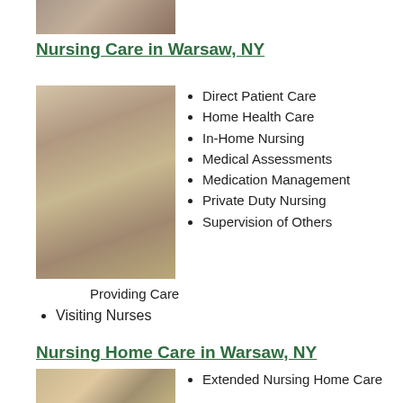[Figure (photo): Top portion of a photo, partially cropped]
Nursing Care in Warsaw, NY
[Figure (photo): Photo of an elderly woman with glasses and a younger caregiver]
Direct Patient Care
Home Health Care
In-Home Nursing
Medical Assessments
Medication Management
Private Duty Nursing
Supervision of Others
Providing Care
Visiting Nurses
Nursing Home Care in Warsaw, NY
[Figure (photo): Photo of elderly man and another person laughing together]
Extended Nursing Home Care